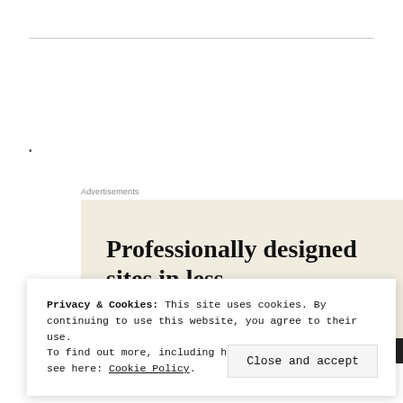•
Advertisements
[Figure (illustration): Advertisement for a website design service with cream/beige background. Large serif bold text reads 'Professionally designed sites in less' (text continues below). Orange and dark strip at the bottom of the ad.]
Privacy & Cookies: This site uses cookies. By continuing to use this website, you agree to their use.
To find out more, including how to control cookies, see here: Cookie Policy.
Close and accept